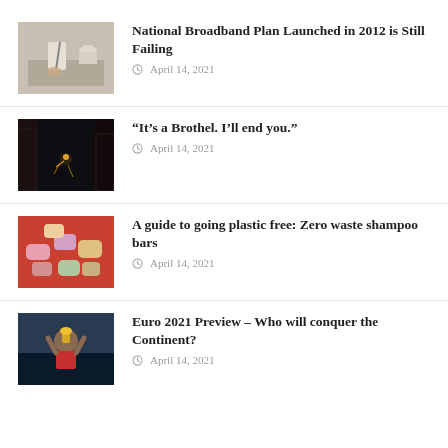[Figure (photo): Person writing at a desk with a cup nearby]
National Broadband Plan Launched in 2012 is Still Failing
April 14, 2021
[Figure (photo): Dark atmospheric alley at night]
“It’s a Brothel. I’ll end you.”
April 14, 2021
[Figure (photo): Various colorful shampoo bars on a red surface]
A guide to going plastic free: Zero waste shampoo bars
April 14, 2021
[Figure (photo): Soccer player holding a trophy]
Euro 2021 Preview – Who will conquer the Continent?
April 14, 2021